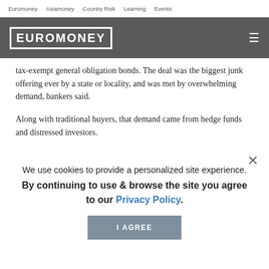Euromoney   Asiamoney   Country Risk   Learning   Events
[Figure (logo): Euromoney logo in white block letters on dark grey header bar with hamburger menu icon]
tax-exempt general obligation bonds. The deal was the biggest junk offering ever by a state or locality, and was met by overwhelming demand, bankers said.
Along with traditional buyers, that demand came from hedge funds and distressed investors.
We use cookies to provide a personalized site experience. By continuing to use & browse the site you agree to our Privacy Policy.
I AGREE
One... "We saw last year that... pick up Puerto Rican... our remit," says Magana. "With the court cases and the sense that public... mes are something like pyramid schemes... dysfunction could become increasingly common. I think the last time the distressed investing world was captivated by munis was